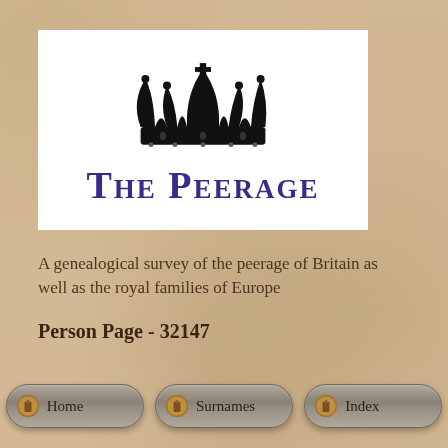[Figure (logo): The Peerage logo with a black royal crown above the text 'THE PEERAGE' in dark purple/blue serif font on white background]
A genealogical survey of the peerage of Britain as well as the royal families of Europe
Person Page - 32147
[Figure (infographic): Three navigation buttons: Home, Surnames, Index — styled as rounded gray pill buttons with golden scroll icons]
Home   Surnames   Index